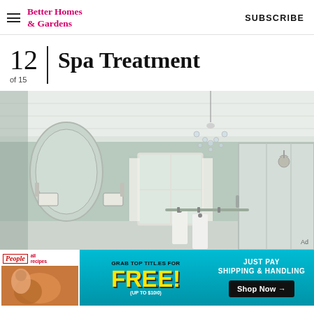Better Homes & Gardens | SUBSCRIBE
12 of 15 Spa Treatment
[Figure (photo): Interior bathroom photo showing a spa-style bathroom with mint green walls, an arched mirror, wall sconces, a crystal chandelier, white beadboard ceiling, and a glass-enclosed shower area. Towels hang on hooks on the wall.]
[Figure (other): Advertisement banner: People and allrecipes logos with food photo. Text reads: GRAB TOP TITLES FOR FREE! (UP TO $100) JUST PAY SHIPPING & HANDLING Shop Now →]